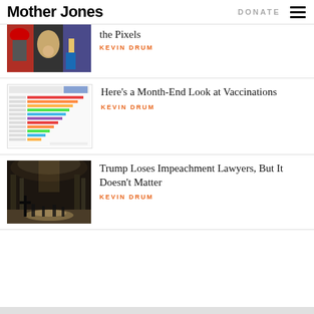Mother Jones | DONATE
[Figure (photo): Collage of magazine covers and images including a person walking past posters]
the Pixels
KEVIN DRUM
[Figure (bar-chart): Horizontal bar chart showing COVID-19 vaccination data by country]
Here’s a Month-End Look at Vaccinations
KEVIN DRUM
[Figure (photo): Interior of Capitol building with figures and a cross visible]
Trump Loses Impeachment Lawyers, But It Doesn’t Matter
KEVIN DRUM